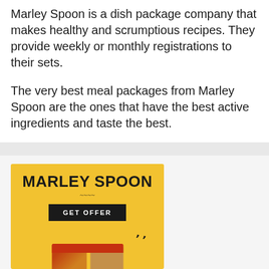Marley Spoon is a dish package company that makes healthy and scrumptious recipes. They provide weekly or monthly registrations to their sets.
The very best meal packages from Marley Spoon are the ones that have the best active ingredients and taste the best.
[Figure (illustration): Marley Spoon advertisement banner with yellow background, bold 'MARLEY SPOON' text, a 'GET OFFER' button, decorative squiggle marks, and food containers at the bottom.]